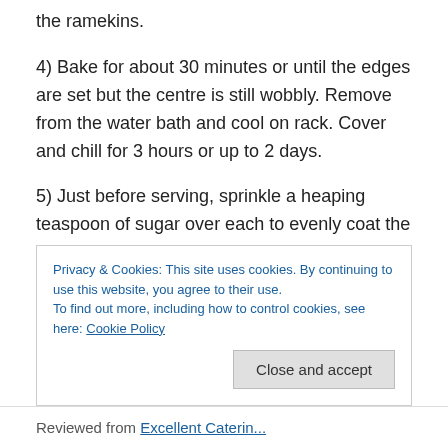the ramekins.
4) Bake for about 30 minutes or until the edges are set but the centre is still wobbly. Remove from the water bath and cool on rack. Cover and chill for 3 hours or up to 2 days.
5) Just before serving, sprinkle a heaping teaspoon of sugar over each to evenly coat the surface. Then using a kitchen torch, slowly heat the sugar until it bubbles and browns. Place back in the fridge for 5 minutes for the surface to cool and harden. You can
Privacy & Cookies: This site uses cookies. By continuing to use this website, you agree to their use.
To find out more, including how to control cookies, see here: Cookie Policy
Close and accept
Reviewed from Excellent Caterin...